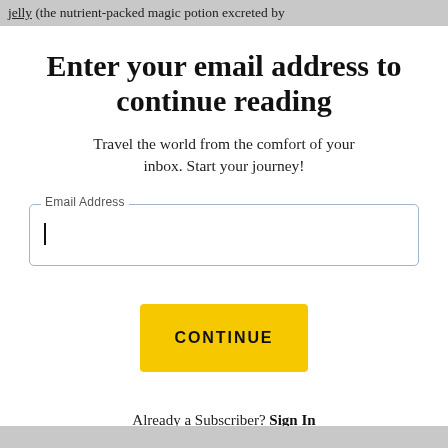jelly (the nutrient-packed magic potion excreted by
Enter your email address to continue reading
Travel the world from the comfort of your inbox. Start your journey!
Email Address [input field]
CONTINUE
Already a Subscriber? Sign In